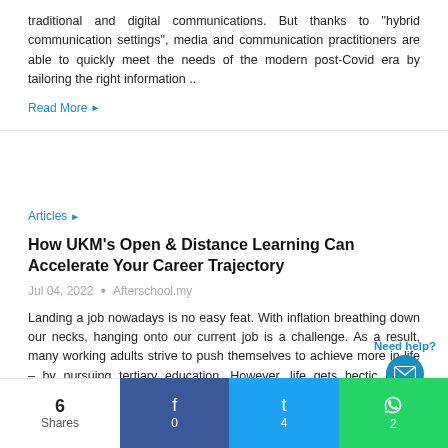traditional and digital communications. But thanks to "hybrid communication settings", media and communication practitioners are able to quickly meet the needs of the modern post-Covid era by tailoring the right information ..
Read More ▶
Articles ▶
How UKM's Open & Distance Learning Can Accelerate Your Career Trajectory
Jul 04, 2022  •  Afterschool.my
Landing a job nowadays is no easy feat. With inflation breathing down our necks, hanging onto our current job is a challenge. As a result, many working adults strive to push themselves to achieve more in life – by pursuing tertiary education. However, life gets hectic if one decides to..
Read More ▶
Articles ▶
Afterschool X Prosple Partnership To Bring You Internships!
6 Shares
0
4
2